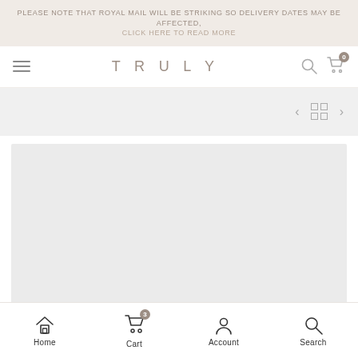PLEASE NOTE THAT ROYAL MAIL WILL BE STRIKING SO DELIVERY DATES MAY BE AFFECTED, CLICK HERE TO READ MORE
[Figure (screenshot): TRULY brand logo navigation bar with hamburger menu, search icon, and cart icon with badge showing 0]
[Figure (other): Grey navigation band with left arrow, grid/layout icon, and right arrow controls]
[Figure (photo): Large light grey product image placeholder area]
Home  Cart  Account  Search